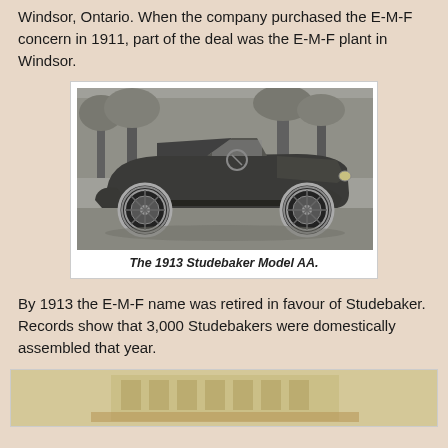Windsor, Ontario. When the company purchased the E-M-F concern in 1911, part of the deal was the E-M-F plant in Windsor.
[Figure (photo): Black and white photograph of the 1913 Studebaker Model AA automobile, a vintage open-top touring car with white-wall tires, shown in side profile outdoors with trees in background.]
The 1913 Studebaker Model AA.
By 1913 the E-M-F name was retired in favour of Studebaker. Records show that 3,000 Studebakers were domestically assembled that year.
[Figure (photo): Sepia-toned partial photograph showing bottom portion of what appears to be a Studebaker building or sign.]